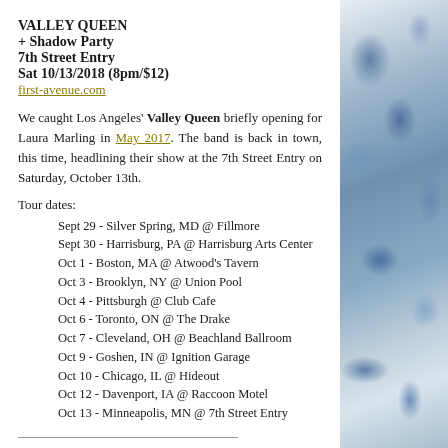VALLEY QUEEN
+ Shadow Party
7th Street Entry
Sat 10/13/2018 (8pm/$12)
first-avenue.com
We caught Los Angeles' Valley Queen briefly opening for Laura Marling in May 2017. The band is back in town, this time, headlining their show at the 7th Street Entry on Saturday, October 13th.
Tour dates:
Sept 29 - Silver Spring, MD @ Fillmore
Sept 30 - Harrisburg, PA @ Harrisburg Arts Center
Oct 1 - Boston, MA @ Atwood's Tavern
Oct 3 - Brooklyn, NY @ Union Pool
Oct 4 - Pittsburgh @ Club Cafe
Oct 6 - Toronto, ON @ The Drake
Oct 7 - Cleveland, OH @ Beachland Ballroom
Oct 9 - Goshen, IN @ Ignition Garage
Oct 10 - Chicago, IL @ Hideout
Oct 12 - Davenport, IA @ Raccoon Motel
Oct 13 - Minneapolis, MN @ 7th Street Entry
THE HOLD STEADY
7th St Entry
Sun 10/14/2018 (3:30 & 7pm/$45/Sold Out)
first-avenue.com